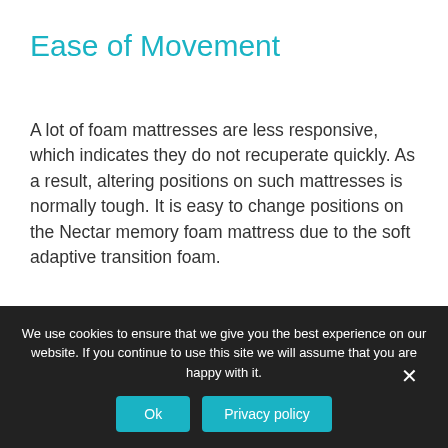Ease of Movement
A lot of foam mattresses are less responsive, which indicates they do not recuperate quickly. As a result, altering positions on such mattresses is normally tough. It is easy to change positions on the Nectar memory foam mattress due to the soft adaptive transition foam.
The transition foam enables the mattress to recover rapidly, therefore making sure that
We use cookies to ensure that we give you the best experience on our website. If you continue to use this site we will assume that you are happy with it.